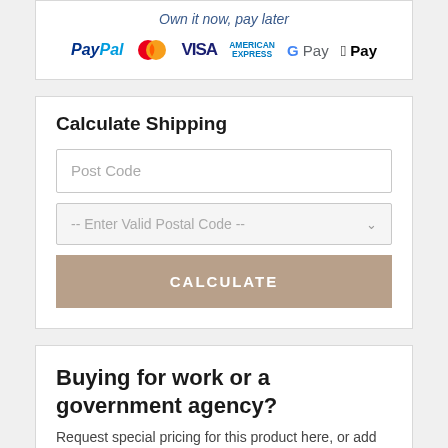Own it now, pay later
[Figure (logo): Payment method logos: PayPal, Mastercard, VISA, American Express, Google Pay, Apple Pay]
Calculate Shipping
Post Code
-- Enter Valid Postal Code --
CALCULATE
Buying for work or a government agency?
Request special pricing for this product here, or add to cart